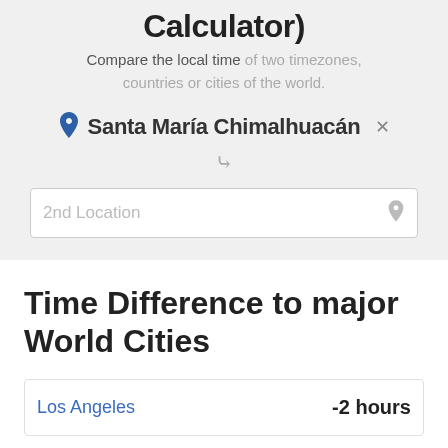Calculator)
Compare the local time of two timezones, countries or cities of the world.
Santa María Chimalhuacán ×
2nd Location
Time Difference to major World Cities
Los Angeles   -2 hours